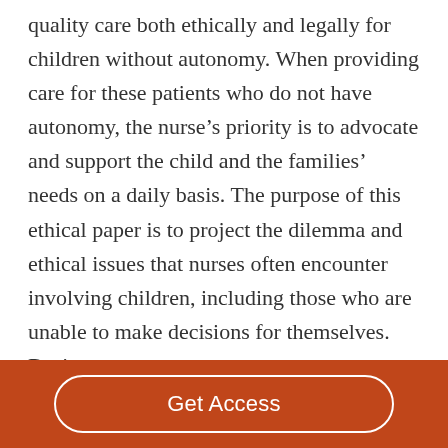quality care both ethically and legally for children without autonomy. When providing care for these patients who do not have autonomy, the nurse's priority is to advocate and support the child and the families' needs on a daily basis. The purpose of this ethical paper is to project the dilemma and ethical issues that nurses often encounter involving children, including those who are unable to make decisions for themselves. During
Get Access